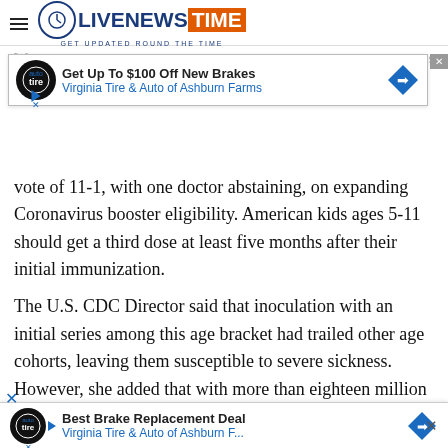LIVENEWS TIME — GET UPDATED ROUND THE TIME
[Figure (screenshot): Advertisement banner: Get Up To $100 Off New Brakes — Virginia Tire & Auto of Ashburn Farms]
vote of 11-1, with one doctor abstaining, on expanding Coronavirus booster eligibility. American kids ages 5-11 should get a third dose at least five months after their initial immunization.
The U.S. CDC Director said that inoculation with an initial series among this age bracket had trailed other age cohorts, leaving them susceptible to severe sickness. However, she added that with more than eighteen million vaccine shots administered to the specified group of Americans, they know that COVID-19 jabs are safe and effective. Moreover, CDC Director says they must continue to increase the number of
[Figure (screenshot): Advertisement banner: Best Brake Replacement Deal — Virginia Tire & Auto of Ashburn F...]